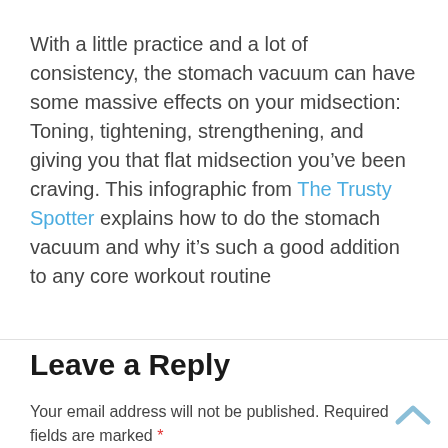With a little practice and a lot of consistency, the stomach vacuum can have some massive effects on your midsection: Toning, tightening, strengthening, and giving you that flat midsection you've been craving. This infographic from The Trusty Spotter explains how to do the stomach vacuum and why it's such a good addition to any core workout routine
Leave a Reply
Your email address will not be published. Required fields are marked *